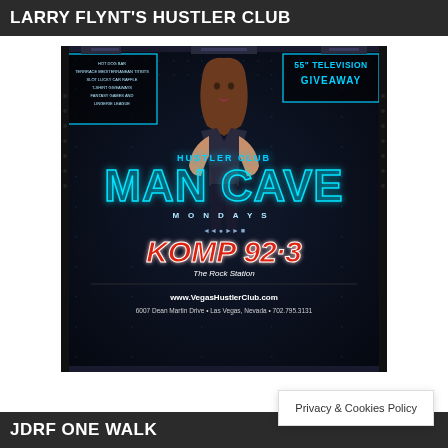LARRY FLYNT'S HUSTLER CLUB
[Figure (illustration): Advertisement for Hustler Club Man Cave Mondays event. Dark tech background with grid dots, female figure in center. Text includes: '55" TELEVISION GIVEAWAY', 'HUSTLER CLUB', 'MAN CAVE', 'MONDAYS', 'KOMP 92.3 The Rock Station', 'www.VegasHustlerClub.com', '6007 Dean Martin Drive • Las Vegas, Nevada • 702.795.3131']
JDRF ONE WALK
Privacy & Cookies Policy